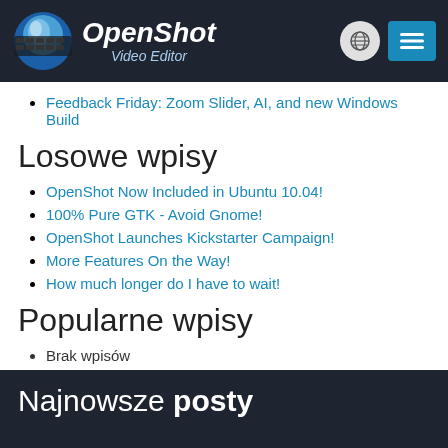[Figure (logo): OpenShot Video Editor logo with globe icon and menu button in dark header]
Feedback Friday: Zoom Slider, AI, and new Windows Build
Losowe wpisy
OpenShot Now Included in Ubuntu 10.04!
100% Pure GTK - Avoid Gnome!
OpenShot Launches Kickstarter Campaign!
More Features On the Way!
How much longer do I have to wait!
Popularne wpisy
Brak wpisów
Najnowsze posty